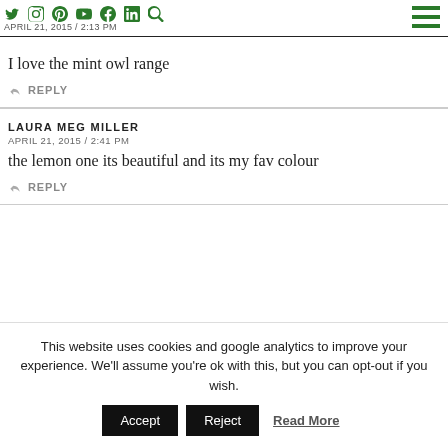APRIL 21, 2015 / 2:13 PM
I love the mint owl range
REPLY
LAURA MEG MILLER
APRIL 21, 2015 / 2:41 PM
the lemon one its beautiful and its my fav colour
REPLY
This website uses cookies and google analytics to improve your experience. We'll assume you're ok with this, but you can opt-out if you wish. Accept Reject Read More